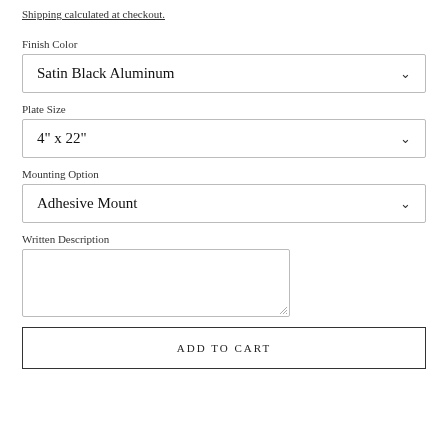Shipping calculated at checkout.
Finish Color
Satin Black Aluminum
Plate Size
4" x 22"
Mounting Option
Adhesive Mount
Written Description
ADD TO CART